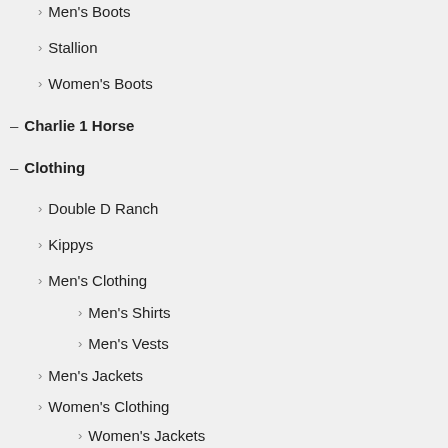Men's Boots
Stallion
Women's Boots
Charlie 1 Horse
Clothing
Double D Ranch
Kippys
Men's Clothing
Men's Shirts
Men's Vests
Men's Jackets
Women's Clothing
Women's Jackets
Women's Shirts